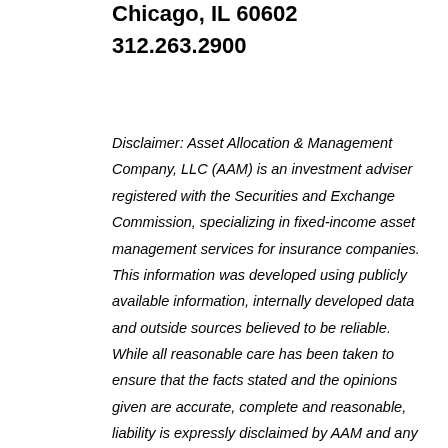Chicago, IL 60602
312.263.2900
Disclaimer: Asset Allocation & Management Company, LLC (AAM) is an investment adviser registered with the Securities and Exchange Commission, specializing in fixed-income asset management services for insurance companies. This information was developed using publicly available information, internally developed data and outside sources believed to be reliable. While all reasonable care has been taken to ensure that the facts stated and the opinions given are accurate, complete and reasonable, liability is expressly disclaimed by AAM and any affiliates (collectively known as “AAM”), and their representative